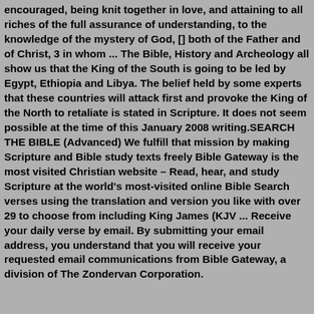encouraged, being knit together in love, and attaining to all riches of the full assurance of understanding, to the knowledge of the mystery of God, [] both of the Father and of Christ, 3 in whom ... The Bible, History and Archeology all show us that the King of the South is going to be led by Egypt, Ethiopia and Libya. The belief held by some experts that these countries will attack first and provoke the King of the North to retaliate is stated in Scripture. It does not seem possible at the time of this January 2008 writing.SEARCH THE BIBLE (Advanced) We fulfill that mission by making Scripture and Bible study texts freely Bible Gateway is the most visited Christian website – Read, hear, and study Scripture at the world's most-visited online Bible Search verses using the translation and version you like with over 29 to choose from including King James (KJV ... Receive your daily verse by email. By submitting your email address, you understand that you will receive your requested email communications from Bible Gateway, a division of The Zondervan Corporation.